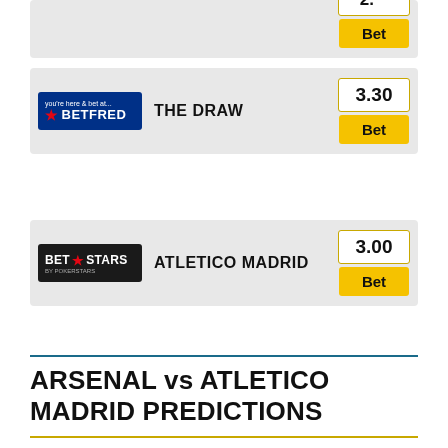[Figure (other): Partial betting card at top with Bet button and odds]
[Figure (other): Betfred logo with THE DRAW label and 3.30 odds with Bet button]
[Figure (other): BetStars logo with ATLETICO MADRID label and 3.00 odds with Bet button]
ARSENAL vs ATLETICO MADRID PREDICTIONS